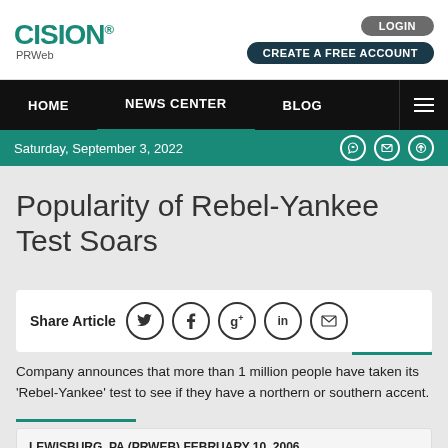CISION PRWeb
LOGIN | CREATE A FREE ACCOUNT
HOME | NEWS CENTER | BLOG
Saturday, September 3, 2022
Popularity of Rebel-Yankee Test Soars
Share Article
Company announces that more than 1 million people have taken its 'Rebel-Yankee' test to see if they have a northern or southern accent.
LEWISBURG, PA (PRWEB) FEBRUARY 10, 2006